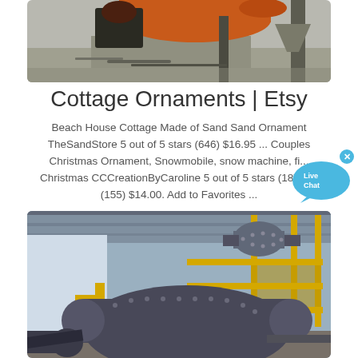[Figure (photo): Industrial facility with large rotary drum/kiln equipment, orange machinery, concrete structure, metal pipes scattered on ground]
Cottage Ornaments | Etsy
Beach House Cottage Made of Sand Sand Ornament TheSandStore 5 out of 5 stars (646) $16.95 ... Couples Christmas Ornament, Snowmobile, snow machine, fi... Christmas CCCreationByCaroline 5 out of 5 stars (18) $ ... (155) $14.00. Add to Favorites ...
[Figure (photo): Industrial factory floor with large ball mill or grinding cylinder equipment, yellow safety railings and stairs, heavy machinery in warehouse setting]